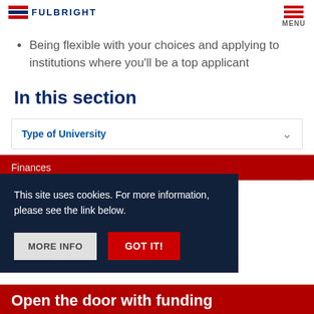FULBRIGHT | MENU
Being flexible with your choices and applying to institutions where you'll be a top applicant
In this section
Type of University
Finances
This site uses cookies. For more information, please see the link below.
Open the door with funding